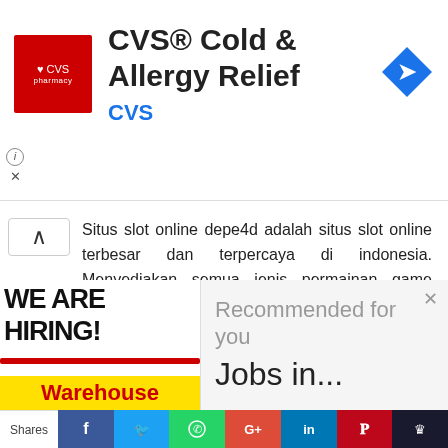[Figure (screenshot): CVS Pharmacy advertisement banner with red logo, title 'CVS® Cold & Allergy Relief', CVS brand name in blue, and a blue navigation arrow icon on the right]
Situs slot online depe4d adalah situs slot online terbesar dan terpercaya di indonesia. Menyediakan semua jenis permainan game online yang bisa anda mainkan dengan 1 user id saja. Segera daftar dan menangkan bonus new member terbesar. Mainkan juga Demo Slot Online
Reply
[Figure (screenshot): Bottom advertisement overlay with 'We Are Hiring!' text and Warehouse label on left, and 'Recommended for you - Jobs in...' text on right]
[Figure (screenshot): Social share bar with Shares label and buttons for Facebook, Twitter, WhatsApp, Google+, LinkedIn, Pinterest, and another social network]